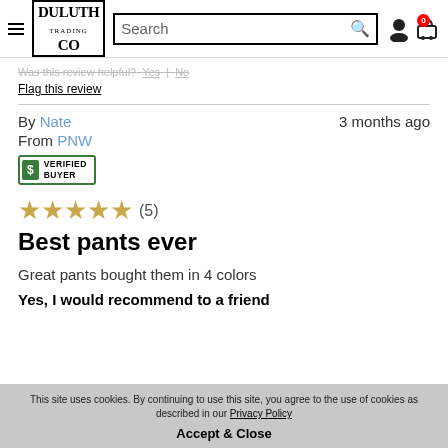Duluth Trading Co — Search bar — Cart
Was this review helpful? Yes | No
Flag this review
By Nate   3 months ago
From PNW
[Figure (other): Verified Buyer badge — green bordered badge with dollar sign icon and text VERIFIED BUYER]
★★★★★ (5)
Best pants ever
Great pants bought them in 4 colors
Yes, I would recommend to a friend
This site uses cookies. By continuing to use this site, you agree to the use of cookies as described in our Privacy Policy
Accept & Close